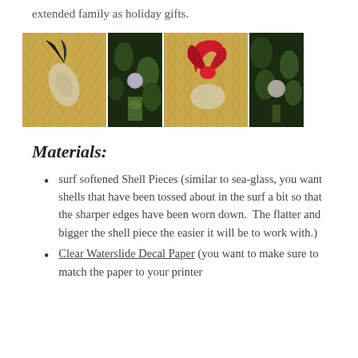extended family as holiday gifts.
[Figure (photo): Four photos showing shell ornaments and Christmas tree decorations with ribbons]
Materials:
surf softened Shell Pieces (similar to sea-glass, you want shells that have been tossed about in the surf a bit so that the sharper edges have been worn down. The flatter and bigger the shell piece the easier it will be to work with.)
Clear Waterslide Decal Paper (you want to make sure to match the paper to your printer type.)